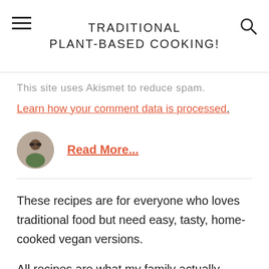Traditional Plant-Based Cooking!
This site uses Akismet to reduce spam.
Learn how your comment data is processed.
Read More...
These recipes are for everyone who loves traditional food but need easy, tasty, home-cooked vegan versions.
All recipes are what my family actually